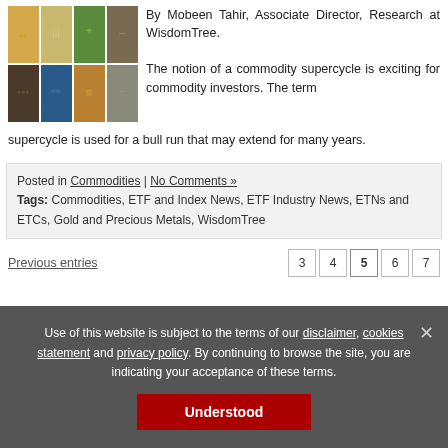[Figure (photo): Grid of commodity images: corn, wheat/grain, rocks, ocean waves, oil/candles, gravel]
By Mobeen Tahir, Associate Director, Research at WisdomTree.
The notion of a commodity supercycle is exciting for commodity investors. The term supercycle is used for a bull run that may extend for many years.
Posted in Commodities | No Comments »
Tags: Commodities, ETF and Index News, ETF Industry News, ETNs and ETCs, Gold and Precious Metals, WisdomTree
Previous entries
3  4  5  6  7
Use of this website is subject to the terms of our disclaimer, cookies statement and privacy policy. By continuing to browse the site, you are indicating your acceptance of these terms.
Understood